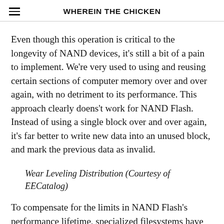WHEREIN THE CHICKEN
Even though this operation is critical to the longevity of NAND devices, it's still a bit of a pain to implement. We're very used to using and reusing certain sections of computer memory over and over again, with no detriment to its performance. This approach clearly doens't work for NAND Flash. Instead of using a single block over and over again, it's far better to write new data into an unused block, and mark the previous data as invalid.
Wear Leveling Distribution (Courtesy of EECatalog)
To compensate for the limits in NAND Flash's performance lifetime, specialized filesystems have been developed that allow for developers to see a